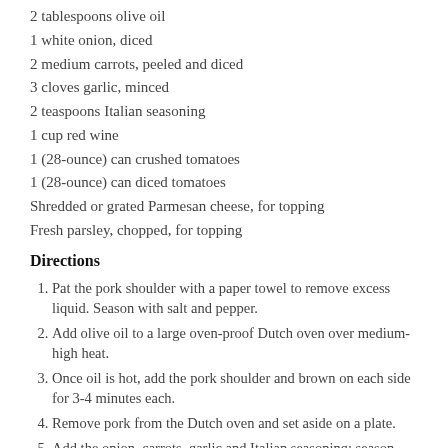1 (3-4 pound) pork shoulder
2 tablespoons olive oil
1 white onion, diced
2 medium carrots, peeled and diced
3 cloves garlic, minced
2 teaspoons Italian seasoning
1 cup red wine
1 (28-ounce) can crushed tomatoes
1 (28-ounce) can diced tomatoes
Shredded or grated Parmesan cheese, for topping
Fresh parsley, chopped, for topping
Directions
Pat the pork shoulder with a paper towel to remove excess liquid. Season with salt and pepper.
Add olive oil to a large oven-proof Dutch oven over medium-high heat.
Once oil is hot, add the pork shoulder and brown on each side for 3-4 minutes each.
Remove pork from the Dutch oven and set aside on a plate.
Add the onion, carrots, garlic and Italian seasoning; season with salt and pepper to taste. Cook the vegetables until softened, about 5-7 minutes.